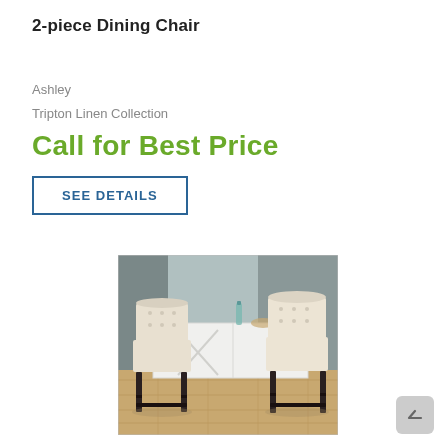2-piece Dining Chair
Ashley
Tripton Linen Collection
Call for Best Price
SEE DETAILS
[Figure (photo): Two white upholstered tufted dining chairs with dark wooden legs positioned at a white farmhouse-style kitchen island. Hardwood floor, kitchen background with shelves.]